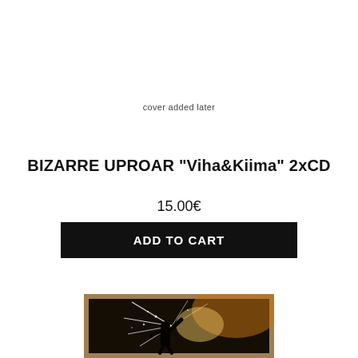cover added later
BIZARRE UPROAR "Viha&Kiima" 2xCD
15.00€
ADD TO CART
[Figure (photo): Product photo showing a dark concert/performance image with light rays and a silhouette figure with raised arms, framed with a brown/tan border]